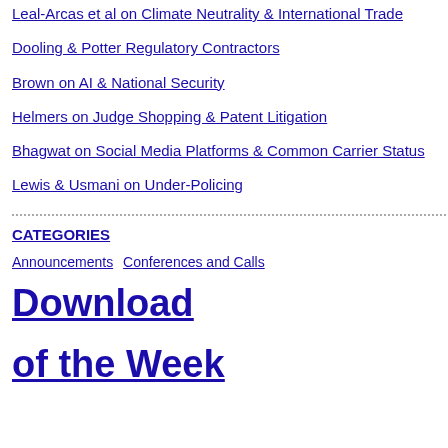Leal-Arcas et al on Climate Neutrality & International Trade
Dooling & Potter Regulatory Contractors
Brown on AI & National Security
Helmers on Judge Shopping & Patent Litigation
Bhagwat on Social Media Platforms & Common Carrier Status
Lewis & Usmani on Under-Policing
CATEGORIES
Announcements   Conferences and Calls   Download of the Week
Positive Legal Theory Type 3: Effects
theories that are referred to as "positive" that will be produced by a given regime of "positive theory" that is most frequently in question --"What effects will a strict liabil regime have on the manufacturers of co a legal theory that is positive in the sens explicitly evaluate the desirability of the r is also sometimes called a "predictive th
Normative Legal Theory
Normative legal theories, on the other ha a normative theory of products liability la whether negligence or strict liability is the tend to be entwined with more general m theories, although this is not necessarily Lexicon already includes entries on deor three of the most important general r